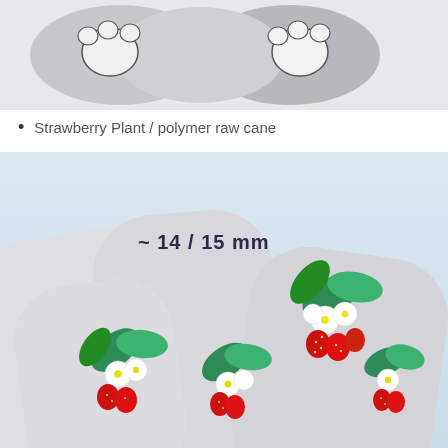[Figure (photo): Close-up photo of polymer clay cat paw canes showing white paw pad designs on grey cylindrical canes, viewed from the end]
Strawberry Plant / polymer raw cane
[Figure (photo): Photo of multiple polymer clay canes showing strawberry plant designs with red strawberries, white flowers, and green leaves. Text overlay reads '~ 14 / 15 mm']